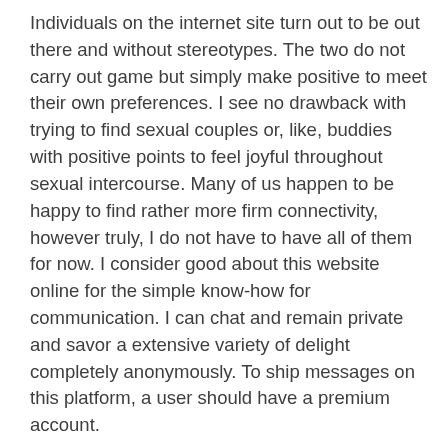Individuals on the internet site turn out to be out there and without stereotypes. The two do not carry out game but simply make positive to meet their own preferences. I see no drawback with trying to find sexual couples or, like, buddies with positive points to feel joyful throughout sexual intercourse. Many of us happen to be happy to find rather more firm connectivity, however truly, I do not have to have all of them for now. I consider good about this website online for the simple know-how for communication. I can chat and remain private and savor a extensive variety of delight completely anonymously. To ship messages on this platform, a user should have a premium account.
For me, It's simpler to speak and ask queries, producing dialogs all-natural. This page will get the function I need to determine your web based business